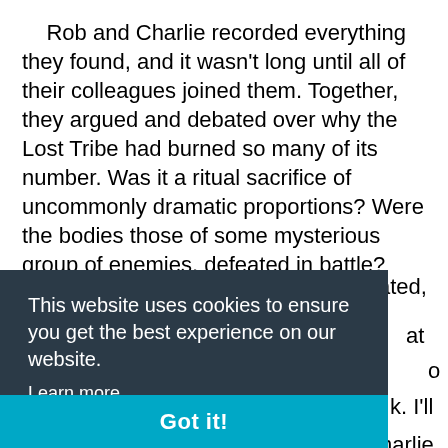Rob and Charlie recorded everything they found, and it wasn't long until all of their colleagues joined them. Together, they argued and debated over why the Lost Tribe had burned so many of its number. Was it a ritual sacrifice of uncommonly dramatic proportions? Were the bodies those of some mysterious group of enemies, defeated in battle? Was this the result of a grand mutiny against the tribe's chief? None of the collection of scientists, doctors and explorers could agree.
[partial text visible behind cookie banner] ...ated, ...at ...o ...k. I'll ...harlie ...to it with growing anticipation.
[Figure (screenshot): Cookie consent banner with dark background (#2b3a47) showing text 'This website uses cookies to ensure you get the best experience on our website.' with a 'Learn more' underlined link, and a teal 'Got it!' button bar at the bottom.]